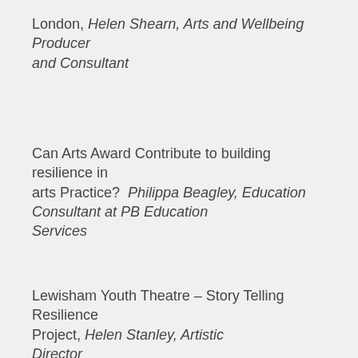London, Helen Shearn, Arts and Wellbeing Producer and Consultant
Can Arts Award Contribute to building resilience in arts Practice?  Philippa Beagley, Education Consultant at PB Education Services
Lewisham Youth Theatre – Story Telling Resilience Project, Helen Stanley, Artistic Director